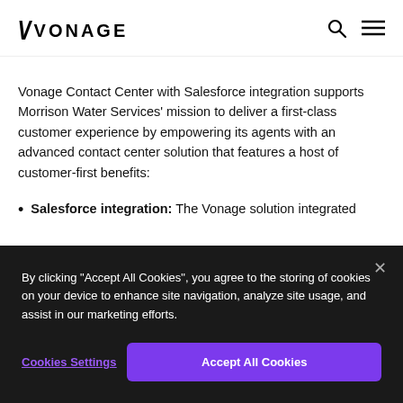VONAGE
Vonage Contact Center with Salesforce integration supports Morrison Water Services' mission to deliver a first-class customer experience by empowering its agents with an advanced contact center solution that features a host of customer-first benefits:
Salesforce integration: The Vonage solution integrated with Morrison Water Services' existing CRM platform
By clicking "Accept All Cookies", you agree to the storing of cookies on your device to enhance site navigation, analyze site usage, and assist in our marketing efforts.
Cookies Settings | Accept All Cookies